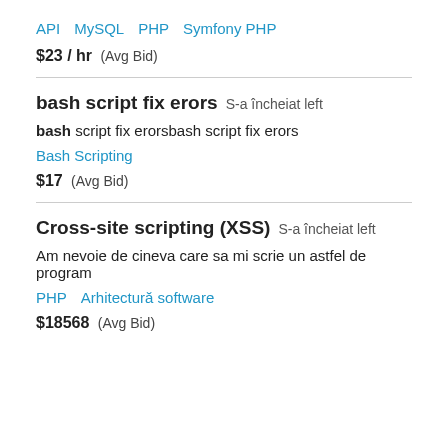API   MySQL   PHP   Symfony PHP
$23 / hr  (Avg Bid)
bash script fix erors  S-a încheiat left
bash script fix erorsbash script fix erors
Bash Scripting
$17  (Avg Bid)
Cross-site scripting (XSS)  S-a încheiat left
Am nevoie de cineva care sa mi scrie un astfel de program
PHP   Arhitectură software
$18568  (Avg Bid)